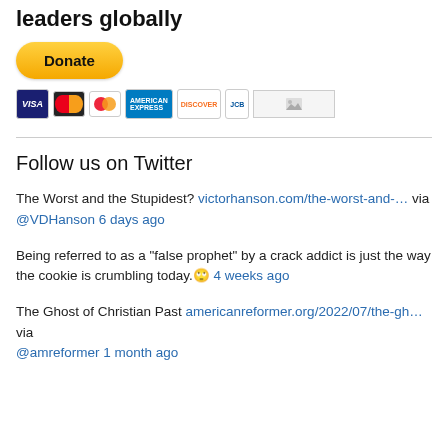leaders globally
[Figure (other): PayPal Donate button (yellow rounded button) followed by payment method icons: Visa, Mastercard, Maestro, American Express, Discover, JCB, and an image placeholder]
Follow us on Twitter
The Worst and the Stupidest? victorhanson.com/the-worst-and-… via @VDHanson 6 days ago
Being referred to as a "false prophet" by a crack addict is just the way the cookie is crumbling today.🙄 4 weeks ago
The Ghost of Christian Past americanreformer.org/2022/07/the-gh… via @amreformer 1 month ago